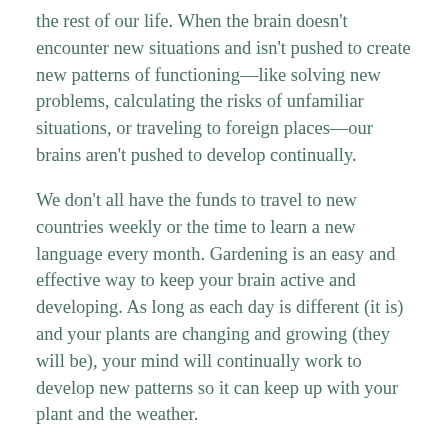the rest of our life. When the brain doesn't encounter new situations and isn't pushed to create new patterns of functioning—like solving new problems, calculating the risks of unfamiliar situations, or traveling to foreign places—our brains aren't pushed to develop continually.
We don't all have the funds to travel to new countries weekly or the time to learn a new language every month. Gardening is an easy and effective way to keep your brain active and developing. As long as each day is different (it is) and your plants are changing and growing (they will be), your mind will continually work to develop new patterns so it can keep up with your plant and the weather.
Think of each day as the simplest problem-solving exercise. Do you need to water? Does your plant need a different amount of sun? How do you harvest? How do I use the food in a new recipe?